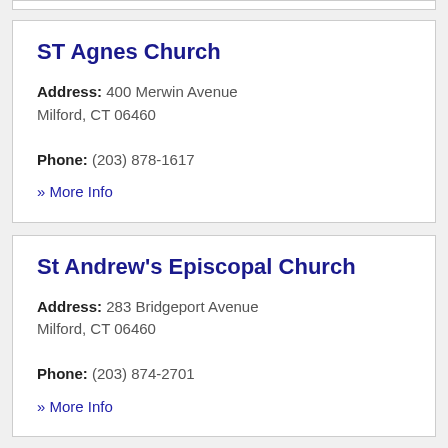ST Agnes Church
Address: 400 Merwin Avenue Milford, CT 06460
Phone: (203) 878-1617
» More Info
St Andrew's Episcopal Church
Address: 283 Bridgeport Avenue Milford, CT 06460
Phone: (203) 874-2701
» More Info